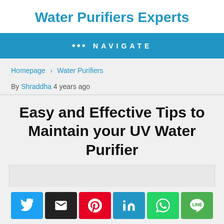Water Purifiers Experts
••• NAVIGATE
Homepage › Water Purifiers
By Shraddha 4 years ago
Easy and Effective Tips to Maintain your UV Water Purifier
[Figure (other): Article featured image placeholder (light gray box)]
[Figure (infographic): Social sharing buttons: Twitter, Email, Pinterest, LinkedIn, WhatsApp, LINE]